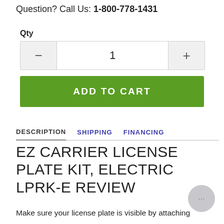Question? Call Us: 1-800-778-1431
Qty
1
ADD TO CART
DESCRIPTION  SHIPPING  FINANCING
EZ CARRIER LICENSE PLATE KIT, ELECTRIC LPRK-E REVIEW
Make sure your license plate is visible by attaching